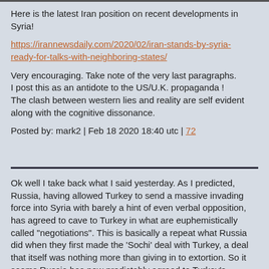Here is the latest Iran position on recent developments in Syria!
https://irannewsdaily.com/2020/02/iran-stands-by-syria-ready-for-talks-with-neighboring-states/
Very encouraging. Take note of the very last paragraphs. I post this as an antidote to the US/U.K. propaganda ! The clash between western lies and reality are self evident along with the cognitive dissonance.
Posted by: mark2 | Feb 18 2020 18:40 utc | 72
Ok well I take back what I said yesterday. As I predicted, Russia, having allowed Turkey to send a massive invading force into Syria with barely a hint of even verbal opposition, has agreed to cave to Turkey in what are euphemistically called "negotiations". This is basically a repeat what Russia did when they first made the 'Sochi' deal with Turkey, a deal that itself was nothing more than giving in to extortion. So it seems Russia has now predictably agreed to Turkey's demand that Sochi be restored. What exactly this means in detail remains to be seen. Will it mean an outrite rollback by the SAA? I would guess that Syria will be allowed to keep the chunk of Aleppo that Turkey surrendered (and now we can see they really do eat their promises they) and that is all.